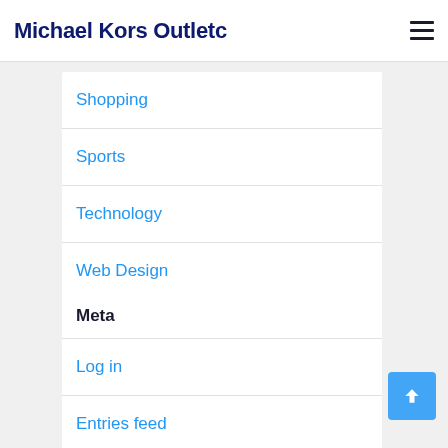Michael Kors Outletc
Shopping
Sports
Technology
Web Design
Meta
Log in
Entries feed